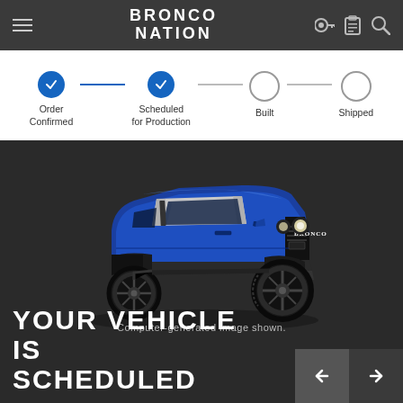BRONCO NATION
Order Confirmed | Scheduled for Production | Built | Shipped
[Figure (photo): Computer-generated image of a blue Ford Bronco Raptor SUV on dark background]
Computer-generated image shown.
YOUR VEHICLE IS SCHEDULED